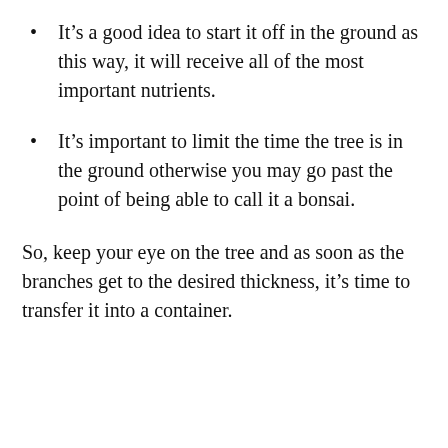It’s a good idea to start it off in the ground as this way, it will receive all of the most important nutrients.
It’s important to limit the time the tree is in the ground otherwise you may go past the point of being able to call it a bonsai.
So, keep your eye on the tree and as soon as the branches get to the desired thickness, it’s time to transfer it into a container.
Search for
1. BEGINNERS GUIDE TO INVESTING
2. BEGINNERS GUIDE TO OPTIONS